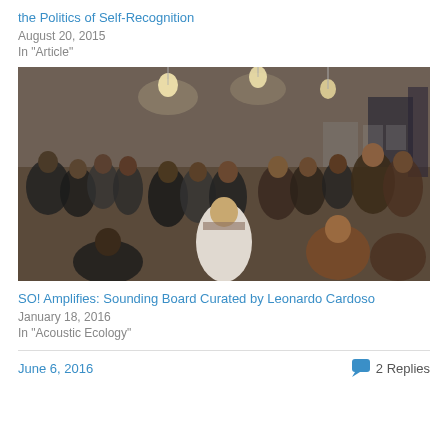the Politics of Self-Recognition
August 20, 2015
In "Article"
[Figure (photo): A crowded indoor gathering with people standing in a circle in a warmly lit room with hanging bulbs and white walls. People appear to be participating in a discussion or performance event.]
SO! Amplifies: Sounding Board Curated by Leonardo Cardoso
January 18, 2016
In "Acoustic Ecology"
June 6, 2016
2 Replies